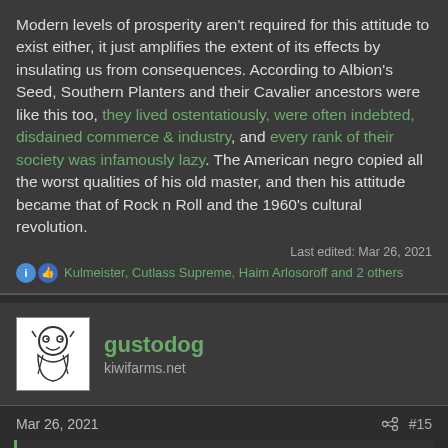Modern levels of prosperity aren't required for this attitude to exist either, it just amplifies the extent of its effects by insulating us from consequences. According to Albion's Seed, Southern Planters and their Cavalier ancestors were like this too, they lived ostentatiously, were often indebted, disdained commerce & industry, and every rank of their society was infamously lazy. The American negro copied all the worst qualities of his old master, and then his attitude became that of Rock n Roll and the 1960's cultural revolution.
Last edited: Mar 26, 2021
Kulmeister, Cutlass Supreme, Haim Arlosoroff and 2 others
gustodog
kiwifarms.net
Mar 26, 2021
#15
Ita Mori said:
I think instead, we will get replaced by immigrants/illegals/DNC